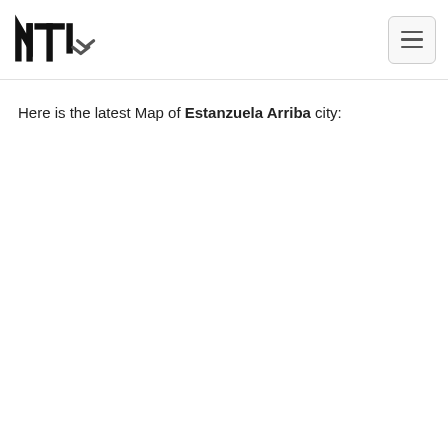NTI logo and navigation
Here is the latest Map of Estanzuela Arriba city: